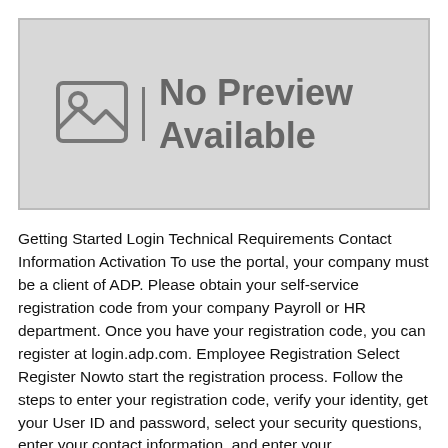[Figure (other): No Preview Available placeholder image with grey background and image icon]
Getting Started Login Technical Requirements Contact Information Activation To use the portal, your company must be a client of ADP. Please obtain your self-service registration code from your company Payroll or HR department. Once you have your registration code, you can register at login.adp.com. Employee Registration Select Register Nowto start the registration process. Follow the steps to enter your registration code, verify your identity, get your User ID and password, select your security questions, enter your contact information, and enter your